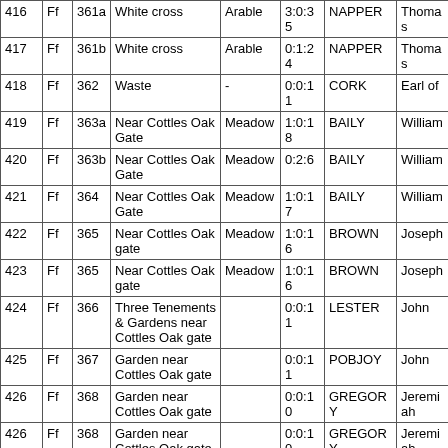| 416 | Ff | 361a | White cross | Arable | 3:0:35 | NAPPER | Thomas |
| 417 | Ff | 361b | White cross | Arable | 0:1:24 | NAPPER | Thomas |
| 418 | Ff | 362 | Waste | - | 0:0:11 | CORK | Earl of |
| 419 | Ff | 363a | Near Cottles Oak Gate | Meadow | 1:0:18 | BAILY | William |
| 420 | Ff | 363b | Near Cottles Oak Gate | Meadow | 0:2:6 | BAILY | William |
| 421 | Ff | 364 | Near Cottles Oak Gate | Meadow | 1:0:17 | BAILY | William |
| 422 | Ff | 365 | Near Cottles Oak gate | Meadow | 1:0:16 | BROWN | Joseph |
| 423 | Ff | 365 | Near Cottles Oak gate | Meadow | 1:0:16 | BROWN | Joseph |
| 424 | Ff | 366 | Three Tenements & Gardens near Cottles Oak gate |  | 0:0:11 | LESTER | John |
| 425 | Ff | 367 | Garden near Cottles Oak gate |  | 0:0:11 | POBJOY | John |
| 426 | Ff | 368 | Garden near Cottles Oak gate |  | 0:0:10 | GREGORY | Jeremiah |
| 426 | Ff | 368 | Garden near Cottles Oak gate |  | 0:0:10 | GREGORY | Jeremiah |